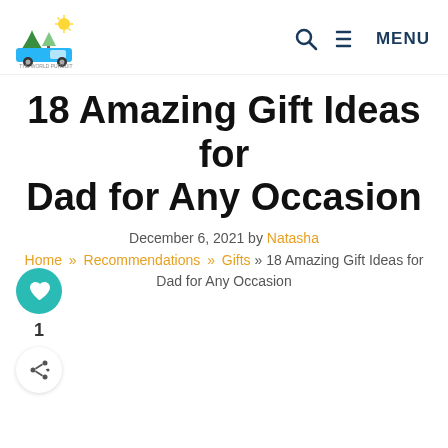The World Pursuit — MENU
18 Amazing Gift Ideas for Dad for Any Occasion
December 6, 2021 by Natasha
Home » Recommendations » Gifts » 18 Amazing Gift Ideas for Dad for Any Occasion
[Figure (infographic): Social sidebar with heart/like button showing count of 1, and a share button]
1